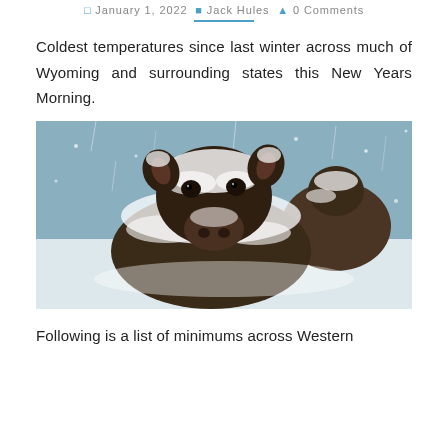January 1, 2022  Jack Hules  0 Comments
Coldest temperatures since last winter across much of Wyoming and surrounding states this New Years Morning.
[Figure (photo): A snow-covered cow facing the camera directly, with another cow visible behind it, during a heavy snowstorm. The animals are heavily coated in snow and ice.]
Following is a list of minimums across Western